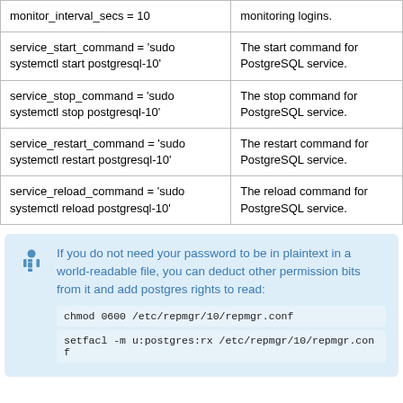| Parameter | Description |
| --- | --- |
| monitor_interval_secs = 10 | monitoring logins. |
| service_start_command = 'sudo systemctl start postgresql-10' | The start command for PostgreSQL service. |
| service_stop_command = 'sudo systemctl stop postgresql-10' | The stop command for PostgreSQL service. |
| service_restart_command = 'sudo systemctl restart postgresql-10' | The restart command for PostgreSQL service. |
| service_reload_command = 'sudo systemctl reload postgresql-10' | The reload command for PostgreSQL service. |
If you do not need your password to be in plaintext in a world-readable file, you can deduct other permission bits from it and add postgres rights to read:
chmod 0600 /etc/repmgr/10/repmgr.conf
setfacl -m u:postgres:rx /etc/repmgr/10/repmgr.conf